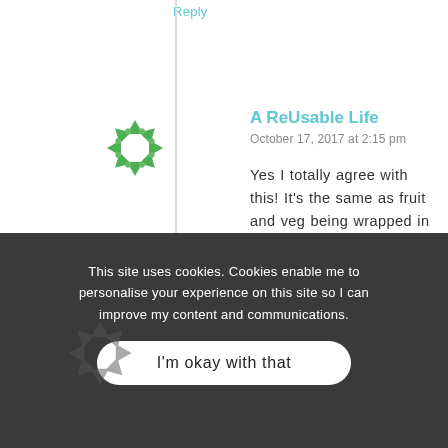Reply
A ReUsable Life
October 17, 2017 at 2:15 pm
Yes I totally agree with this! It's the same as fruit and veg being wrapped in plastic, people don't like the idea that someone might have touched their food!!
Reply
This site uses cookies. Cookies enable me to personalise your experience on this site so I can improve my content and communications.
I'm okay with that
I just checked out your instagram post and I'm both amused and shocked at